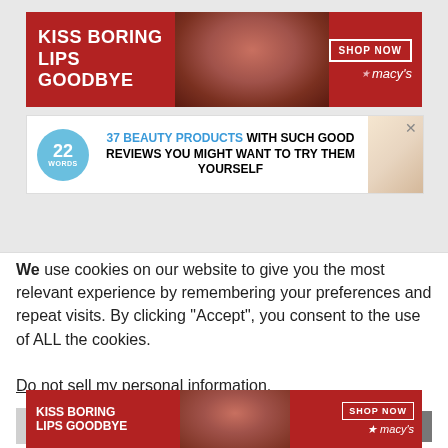[Figure (photo): Macy's advertisement banner: 'KISS BORING LIPS GOODBYE' with woman's face and red lips, SHOP NOW button and Macy's star logo on dark red background]
[Figure (photo): 22 Words advertisement: '37 BEAUTY PRODUCTS WITH SUCH GOOD REVIEWS YOU MIGHT WANT TO TRY THEM YOURSELF' with teal badge showing '22 WORDS' and product image]
[Figure (photo): MAC Cosmetics advertisement with colorful lipsticks on left, MAC logo, SHOP NOW button, and red lipstick on right]
Copyright © 2006-2022 Nancy's Baby
We use cookies on our website to give you the most relevant experience by remembering your preferences and repeat visits. By clicking “Accept”, you consent to the use of ALL the cookies.
Do not sell my personal information.
[Figure (photo): Macy's advertisement banner (bottom): 'KISS BORING LIPS GOODBYE' with woman's face, SHOP NOW button and Macy's star logo]